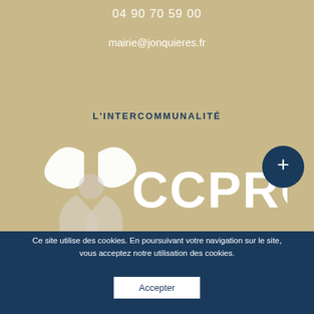04 90 70 59 00
mairie@jonquieres.fr
L'INTERCOMMUNALITÉ
[Figure (logo): CCPRO logo with white stylized flower/windmill shape and CCPRO text, plus dark navy circular button with plus sign]
Ce site utilise des cookies. En poursuivant votre navigation sur le site, vous acceptez notre utilisation des cookies.
Accepter